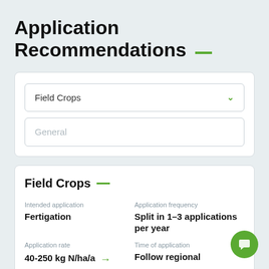Application Recommendations
Field Crops (dropdown selected)
General (input placeholder)
Field Crops
Intended application
Fertigation
Application frequency
Split in 1–3 applications per year
Application rate
40-250 kg N/ha/a
Time of application
Follow regional